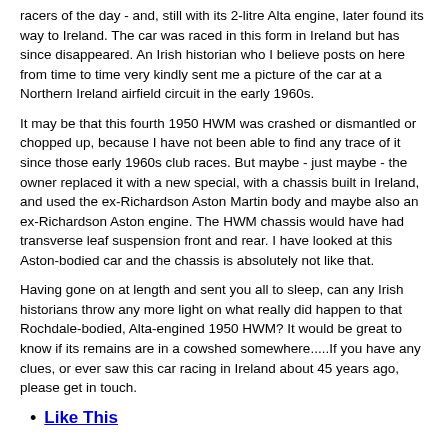racers of the day - and, still with its 2-litre Alta engine, later found its way to Ireland. The car was raced in this form in Ireland but has since disappeared. An Irish historian who I believe posts on here from time to time very kindly sent me a picture of the car at a Northern Ireland airfield circuit in the early 1960s.
It may be that this fourth 1950 HWM was crashed or dismantled or chopped up, because I have not been able to find any trace of it since those early 1960s club races. But maybe - just maybe - the owner replaced it with a new special, with a chassis built in Ireland, and used the ex-Richardson Aston Martin body and maybe also an ex-Richardson Aston engine. The HWM chassis would have had transverse leaf suspension front and rear. I have looked at this Aston-bodied car and the chassis is absolutely not like that.
Having gone on at length and sent you all to sleep, can any Irish historians throw any more light on what really did happen to that Rochdale-bodied, Alta-engined 1950 HWM? It would be great to know if its remains are in a cowshed somewhere.....If you have any clues, or ever saw this car racing in Ireland about 45 years ago, please get in touch.
Like This
Catalina Park 30 May 2008
Tasman? 🙂